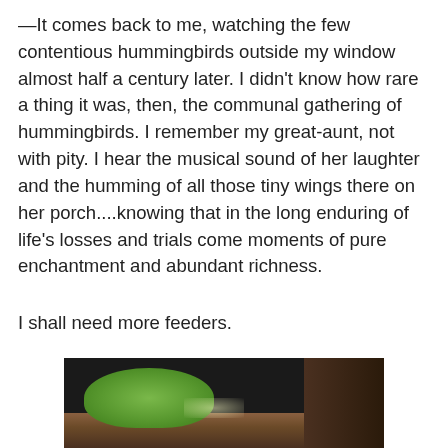—It comes back to me, watching the few contentious hummingbirds outside my window almost half a century later. I didn't know how rare a thing it was, then, the communal gathering of hummingbirds. I remember my great-aunt, not with pity. I hear the musical sound of her laughter and the humming of all those tiny wings there on her porch....knowing that in the long enduring of life's losses and trials come moments of pure enchantment and abundant richness.
I shall need more feeders.
[Figure (photo): A dark photograph showing green moss or vegetation on the left side, brown earthy ground in the lower portion, and dark wooden structures on the right side. The image appears to be taken outdoors in low light.]